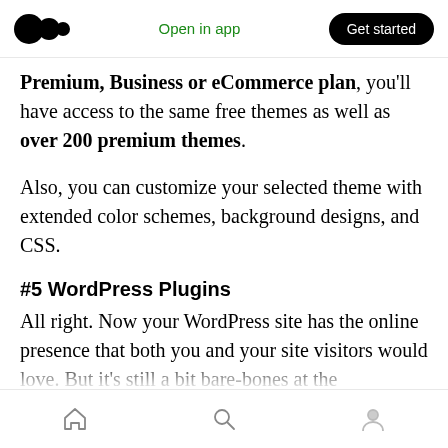Open in app | Get started
Premium, Business or eCommerce plan, you'll have access to the same free themes as well as over 200 premium themes.
Also, you can customize your selected theme with extended color schemes, background designs, and CSS.
#5 WordPress Plugins
All right. Now your WordPress site has the online presence that both you and your site visitors would love. But it's still a bit bare-bones at the
Home | Search | Profile